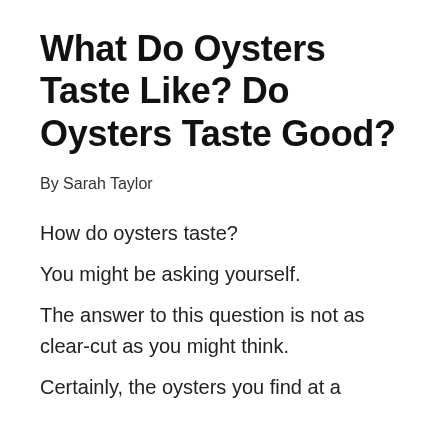What Do Oysters Taste Like? Do Oysters Taste Good?
By Sarah Taylor
How do oysters taste?

You might be asking yourself.

The answer to this question is not as clear-cut as you might think.

Certainly, the oysters you find at a